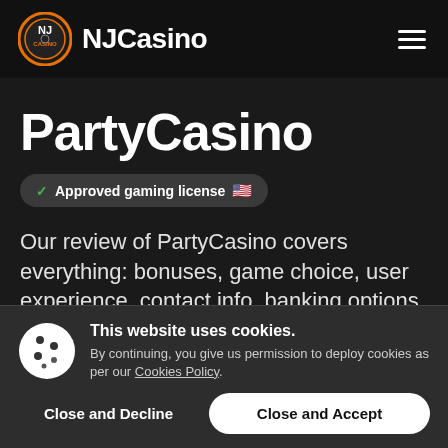NJCasino
PartyCasino
✓ Approved gaming license 🇺🇸
Our review of PartyCasino covers everything: bonuses, game choice, user experience, contact info, banking options, and VIP program. The review provides you all you need
This website uses cookies. By continuing, you give us permission to deploy cookies as per our Cookies Policy.
Close and Decline
Close and Accept